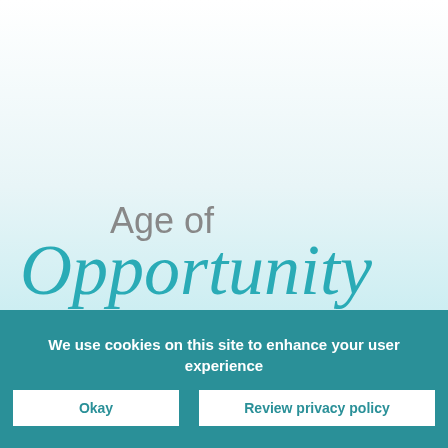Age of Opportunity
We use cookies on this site to enhance your user experience
Okay
Review privacy policy